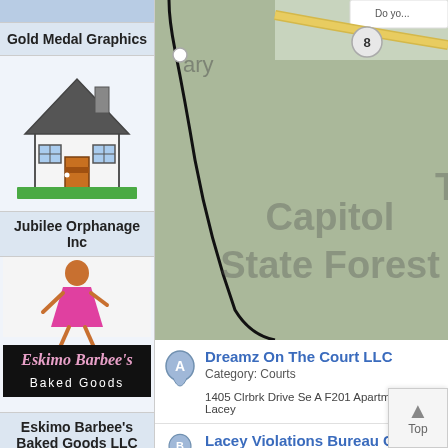[Figure (screenshot): Gold Medal Graphics business logo tile - blue background strip]
Gold Medal Graphics
[Figure (illustration): Jubilee Orphanage Inc logo - simple cartoon house illustration with brown door and windows]
Jubilee Orphanage Inc
[Figure (logo): Eskimo Barbee's Baked Goods logo - woman figure in pink dress with cursive text on black background]
Eskimo Barbee's Baked Goods LLC
[Figure (logo): Havenswood Natural Tech LLC logo - dark blue background with white bold text and phone number (408) 588-4040]
Havenswood Natural Tech LLC
[Figure (map): Google Maps view showing Capitol State Forest area with roads and a location marker pin. Road 8 visible.]
Dreamz On The Court LLC
Category: Courts
1405 Clrbrk Drive Se A F201 Apartment F Lacey...
Lacey Violations Bureau C...